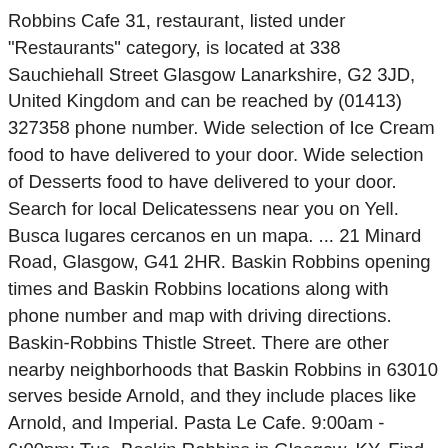Robbins Cafe 31, restaurant, listed under "Restaurants" category, is located at 338 Sauchiehall Street Glasgow Lanarkshire, G2 3JD, United Kingdom and can be reached by (01413) 327358 phone number. Wide selection of Ice Cream food to have delivered to your door. Wide selection of Desserts food to have delivered to your door. Search for local Delicatessens near you on Yell. Busca lugares cercanos en un mapa. ... 21 Minard Road, Glasgow, G41 2HR. Baskin Robbins opening times and Baskin Robbins locations along with phone number and map with driving directions. Baskin-Robbins Thistle Street. There are other nearby neighborhoods that Baskin Robbins in 63010 serves beside Arnold, and they include places like Arnold, and Imperial. Pasta Le Cafe. 9:00am - 6:00pm; Tue. Baskin Robbins in Glasgow, KY. Find the store hours and addresses of the Baskin Robbins locations near Glasgow, KY, along with information about catering services, frozen treats, and the cheapest coffee shops. Cafes and Snack Bars in Glasgow . Baskin Robbins is located at Gartloch Road, Glasgow,